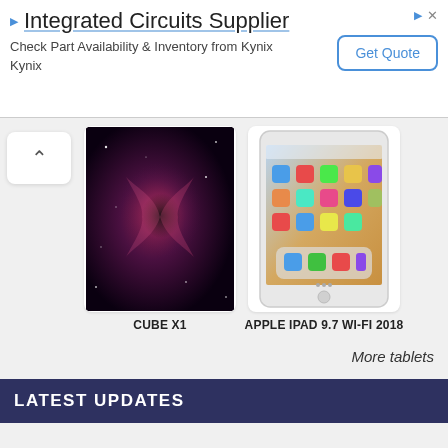[Figure (screenshot): Advertisement banner for Integrated Circuits Supplier - Kynix. Shows title 'Integrated Circuits Supplier', description 'Check Part Availability & Inventory from Kynix Kynix', and a 'Get Quote' button.]
[Figure (screenshot): Tablet product card showing CUBE X1 tablet with dark cosmic/nebula themed wallpaper]
[Figure (screenshot): Tablet product card showing Apple iPad 9.7 Wi-Fi 2018 with iOS home screen]
CUBE X1
APPLE IPAD 9.7 WI-FI 2018
More tablets
LATEST UPDATES
[Figure (screenshot): Update card showing a tablet with a racing game screenshot]
[Figure (screenshot): Update card showing a smartphone/tablet with colorful abstract wallpaper, time 15:06]